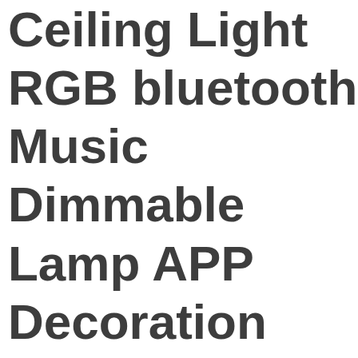Ceiling Light RGB bluetooth Music Dimmable Lamp APP Decoration Home